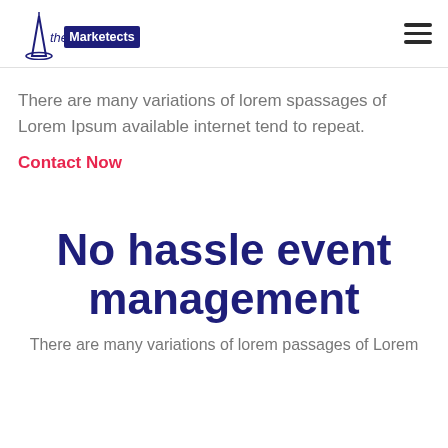the Marketects [logo with hamburger menu]
There are many variations of lorem spassages of Lorem Ipsum available internet tend to repeat.
Contact Now
No hassle event management
There are many variations of lorem passages of Lorem